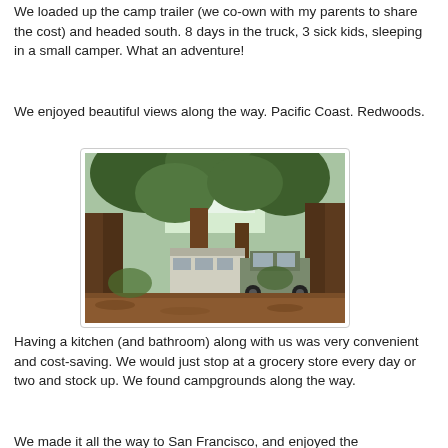We loaded up the camp trailer (we co-own with my parents to share the cost) and headed south. 8 days in the truck, 3 sick kids, sleeping in a small camper. What an adventure!
We enjoyed beautiful views along the way. Pacific Coast. Redwoods.
[Figure (photo): A campsite among tall redwood trees with a camp trailer and SUV visible through the trees, reddish-brown forest floor.]
Having a kitchen (and bathroom) along with us was very convenient and cost-saving. We would just stop at a grocery store every day or two and stock up. We found campgrounds along the way.
We made it all the way to San Francisco, and enjoyed the